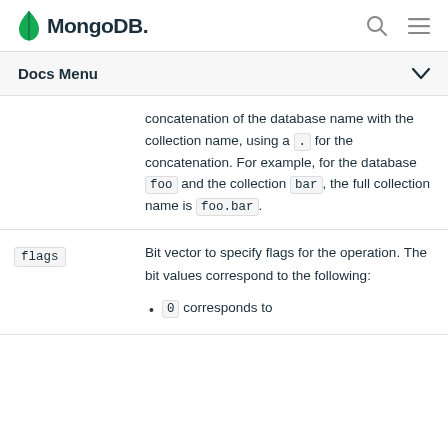MongoDB
Docs Menu
concatenation of the database name with the collection name, using a . for the concatenation. For example, for the database foo and the collection bar, the full collection name is foo.bar.
flags
Bit vector to specify flags for the operation. The bit values correspond to the following:
0 corresponds to